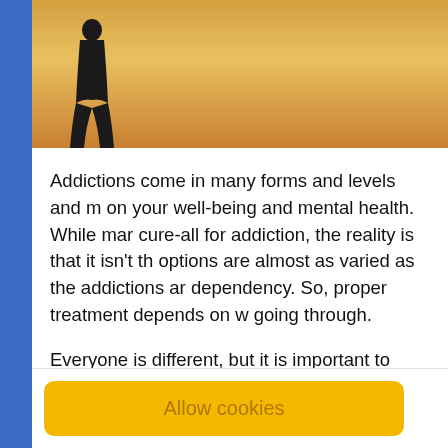[Figure (photo): Silhouette of a person against a golden sunset background, cropped at the top of the page.]
Addictions come in many forms and levels and m on your well-being and mental health. While mar cure-all for addiction, the reality is that it isn't th options are almost as varied as the addictions ar dependency. So, proper treatment depends on w going through.
Everyone is different, but it is important to reme struggling with drug and alcohol abuse or you ca addiction, there are treatment options that cater
Finding the right treatment plan for what you're difficult or tedious but we're here to help you fin
Allow cookies